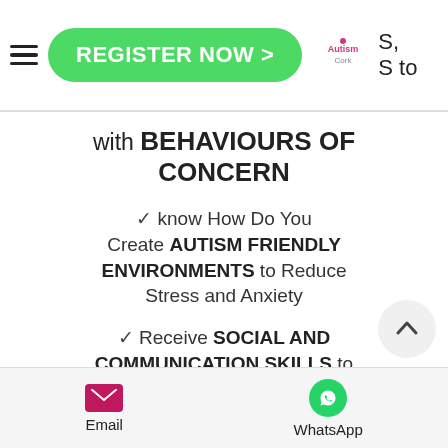REGISTER NOW > | Autism Cork | S, S to
with BEHAVIOURS OF CONCERN
✓ know How Do You Create AUTISM FRIENDLY ENVIRONMENTS to Reduce Stress and Anxiety
✓ Receive SOCIAL AND COMMUNICATION SKILLS to Understand Autistic Children and Adults
✓ Discover MINDFULNESS BASED BEHAVIOUR APPROACHES to Nurture
Email | WhatsApp